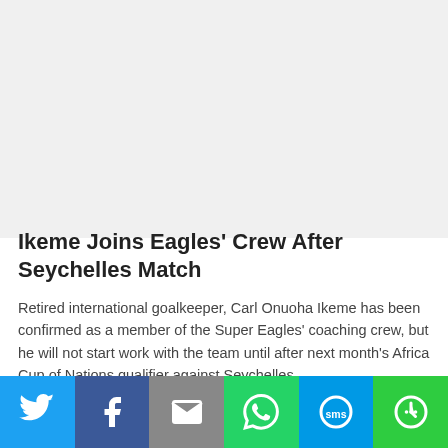[Figure (other): White/light grey blank image area at top of page]
Ikeme Joins Eagles' Crew After Seychelles Match
Retired international goalkeeper, Carl Onuoha Ikeme has been confirmed as a member of the Super Eagles' coaching crew, but he will not start work with the team until after next month's Africa Cup of Nations qualifier against Seychelles.
[Figure (infographic): Social share bar with Twitter, Facebook, Email, WhatsApp, SMS, and More buttons]